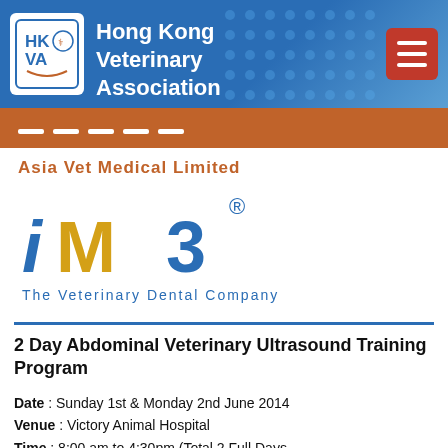Hong Kong Veterinary Association
[Figure (logo): HKVA logo with HK VA initials and animal illustration]
Asia Vet Medical Limited
[Figure (logo): iM3 The Veterinary Dental Company logo]
2 Day Abdominal Veterinary Ultrasound Training Program
Date : Sunday 1st & Monday 2nd June 2014
Venue : Victory Animal Hospital
Time : 8:00 am to 4:30pm (Total 2 Full Days - Abdominal Ultrasound)
Speaker : Dr. Paul A. Brazzell and Dr. Myriam Baranger-Ete